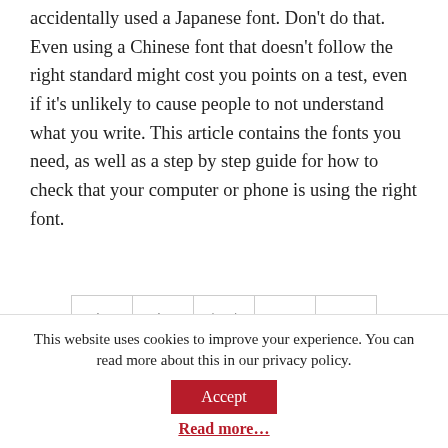accidentally used a Japanese font. Don't do that. Even using a Chinese font that doesn't follow the right standard might cost you points on a test, even if it's unlikely to cause people to not understand what you write. This article contains the fonts you need, as well as a step by step guide for how to check that your computer or phone is using the right font.
|  |  |  | water | shui |
| --- | --- | --- | --- | --- |
| 氵 | 氵 | 氺 · 水 | water | shui |
This website uses cookies to improve your experience. You can read more about this in our privacy policy.
Accept
Read more...